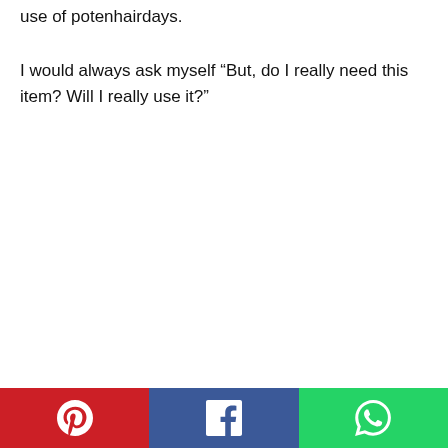use of potenhairdays.
I would always ask myself “But, do I really need this item? Will I really use it?”
Social share bar: Pinterest, Facebook, WhatsApp